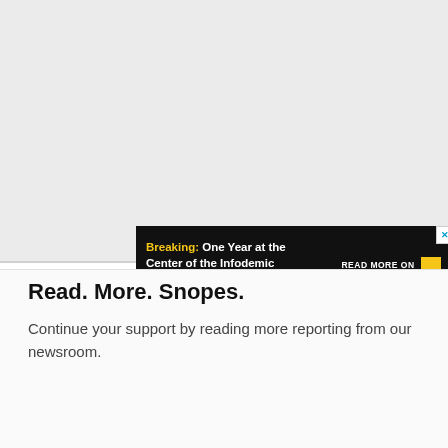[Figure (screenshot): Gray background advertisement area with a dark banner ad reading 'Breaking: One Year at the Center of the Infodemic' with 'READ MORE ON SNOPES' and yellow arrow button, plus a close X button.]
Read. More. Snopes.
Continue your support by reading more reporting from our newsroom.
[Figure (screenshot): Dark banner ad at bottom reading 'Background Check: Investigating George Floyd's Criminal Record' with yellow arrow button and close X button.]